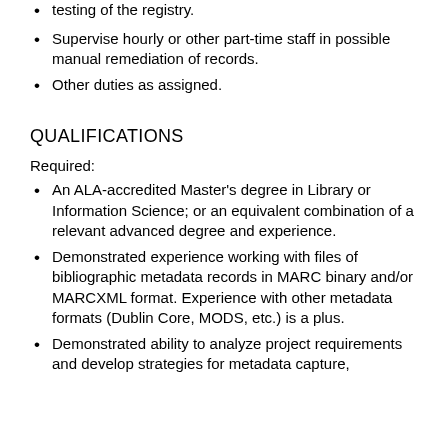testing of the registry.
Supervise hourly or other part-time staff in possible manual remediation of records.
Other duties as assigned.
QUALIFICATIONS
Required:
An ALA-accredited Master's degree in Library or Information Science; or an equivalent combination of a relevant advanced degree and experience.
Demonstrated experience working with files of bibliographic metadata records in MARC binary and/or MARCXML format. Experience with other metadata formats (Dublin Core, MODS, etc.) is a plus.
Demonstrated ability to analyze project requirements and develop strategies for metadata capture,